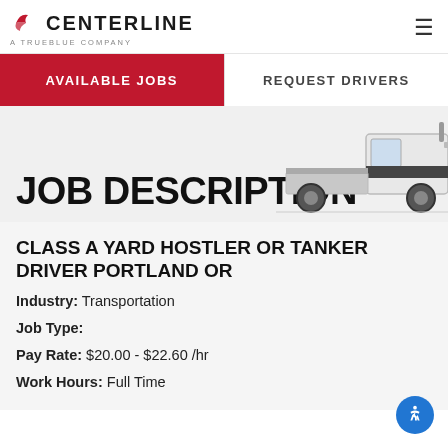CENTERLINE A TRUEBLUE COMPANY
AVAILABLE JOBS | REQUEST DRIVERS
JOB DESCRIPTION
[Figure (illustration): Illustration of a white flatbed/service truck viewed from the side, partially cropped on the right side of the banner.]
CLASS A YARD HOSTLER OR TANKER DRIVER PORTLAND OR
Industry: Transportation
Job Type:
Pay Rate: $20.00 - $22.60 /hr
Work Hours: Full Time